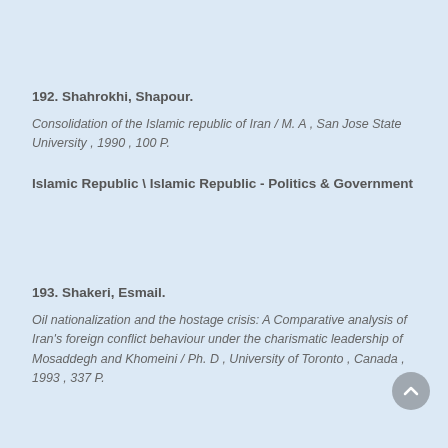192. Shahrokhi, Shapour.
Consolidation of the Islamic republic of Iran / M. A , San Jose State University , 1990 , 100 P.
Islamic Republic \ Islamic Republic - Politics & Government
193. Shakeri, Esmail.
Oil nationalization and the hostage crisis: A Comparative analysis of Iran's foreign conflict behaviour under the charismatic leadership of Mosaddegh and Khomeini / Ph. D , University of Toronto , Canada , 1993 , 337 P.